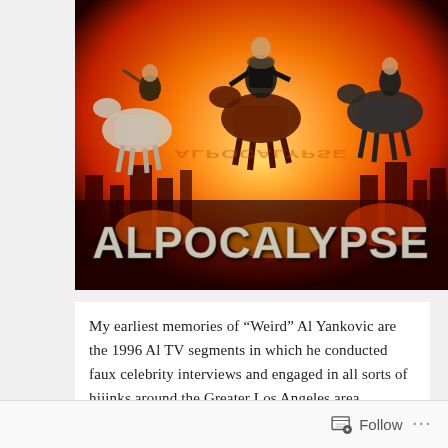[Figure (photo): Album cover for 'Alpocalypse' by Weird Al Yankovic. Shows horsemen riding through a burning cityscape with large stylized text reading 'ALPOCALYPSE' at the bottom. Orange and red fire fills the background.]
My earliest memories of “Weird” Al Yankovic are the 1996 Al TV segments in which he conducted faux celebrity interviews and engaged in all sorts of hijinks around the Greater Los Angeles area.
Follow ...